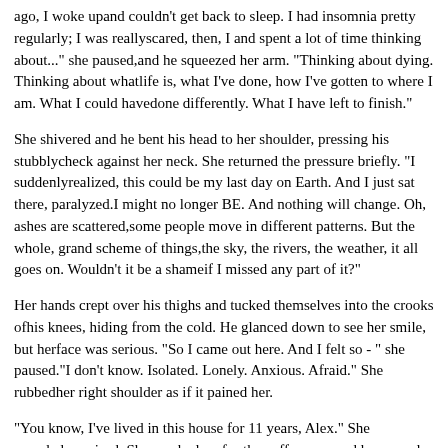ago, I woke upand couldn't get back to sleep. I had insomnia pretty regularly; I was reallyscared, then, I and spent a lot of time thinking about..." she paused,and he squeezed her arm. "Thinking about dying. Thinking about whatlife is, what I've done, how I've gotten to where I am. What I could havedone differently. What I have left to finish."
She shivered and he bent his head to her shoulder, pressing his stubblycheck against her neck. She returned the pressure briefly. "I suddenlyrealized, this could be my last day on Earth. And I just sat there, paralyzed.I might no longer BE. And nothing will change. Oh, ashes are scattered,some people move in different patterns. But the whole, grand scheme of things,the sky, the rivers, the weather, it all goes on. Wouldn't it be a shameif I missed any part of it?"
Her hands crept over his thighs and tucked themselves into the crooks ofhis knees, hiding from the cold. He glanced down to see her smile, but herface was serious. "So I came out here. And I felt so - " she paused."I don't know. Isolated. Lonely. Anxious. Afraid." She rubbedher right shoulder as if it pained her.
"You know, I've lived in this house for 11 years, Alex." She soundedsurprised. She reached up for the coffee cup, and he poured her a warm-upbefore she continued. "That day was a turning point for me. My husbandwas gone. I had no..." she